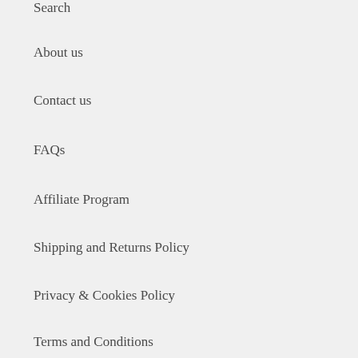Search
About us
Contact us
FAQs
Affiliate Program
Shipping and Returns Policy
Privacy & Cookies Policy
Terms and Conditions